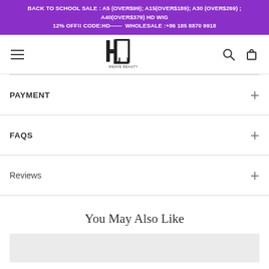BACK TO SCHOOL SALE : A5 (OVER$99); A15(OVER$189); A30 (OVER$269) ; A40(OVER$379) HD WIG 12% OFF!! CODE:HD—— WHOLESALE :+86 185 8870 9918
[Figure (logo): HJ Weave Beauty logo with hamburger menu, search icon, and cart icon in navigation bar]
PAYMENT
FAQS
Reviews
You May Also Like